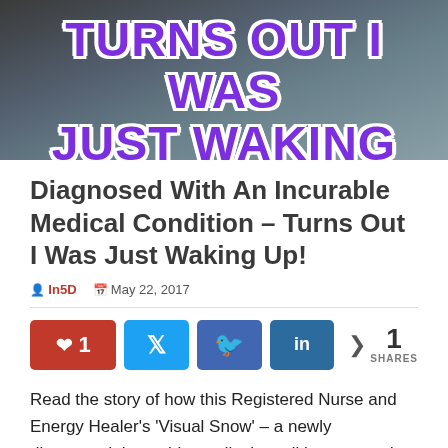[Figure (photo): Hero image with dark/moody background and large purple bold text reading 'TURNS OUT I WAS JUST WAKING UP!']
Diagnosed With An Incurable Medical Condition – Turns Out I Was Just Waking Up!
In5D  May 22, 2017
[Figure (infographic): Social share buttons row: Pinterest button (red, count 1), Twitter button (blue), Facebook button (blue), LinkedIn button (dark blue), and share count showing 1 SHARES]
Read the story of how this Registered Nurse and Energy Healer's 'Visual Snow' – a newly discovered, incurable medical condition – turned out to be the onset of a Spiritual Awakening and Clairvoyant abilities.